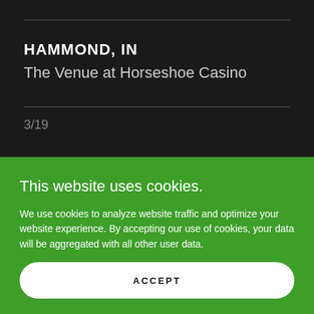HAMMOND, IN
The Venue at Horseshoe Casino
3/19
This website uses cookies.
We use cookies to analyze website traffic and optimize your website experience. By accepting our use of cookies, your data will be aggregated with all other user data.
ACCEPT